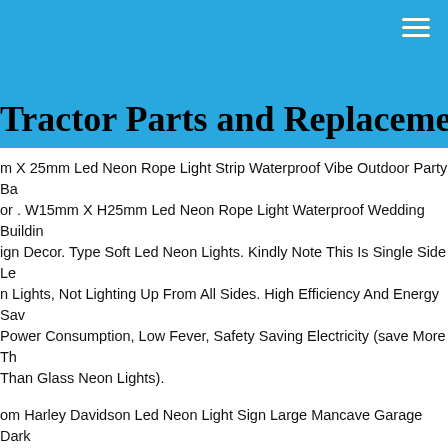Tractor Parts and Replacement
m X 25mm Led Neon Rope Light Strip Waterproof Vibe Outdoor Party Ba or . W15mm X H25mm Led Neon Rope Light Waterproof Wedding Buildin ign Decor. Type Soft Led Neon Lights. Kindly Note This Is Single Side Le n Lights, Not Lighting Up From All Sides. High Efficiency And Energy Sav Power Consumption, Low Fever, Safety Saving Electricity (save More Th Than Glass Neon Lights).
om Harley Davidson Led Neon Light Sign Large Mancave Garage Dark . Harley Davidson Custom Led Light Sign. Size 24x36x5 Hangs With 2 ws Plugs Into A Standard 110vonoff Switch Thanks For Looking!
kah Supplies Neon Sign | Jantec | 2 Sizes | Bar Glass Pipes Smoke Shop e. Golf Neon Sign Jantec 24" X 18" Driving Range Course Putt Putt Par ts. Open-closed Neon Sign Jantec 32" X 13" Restaurant Each Word